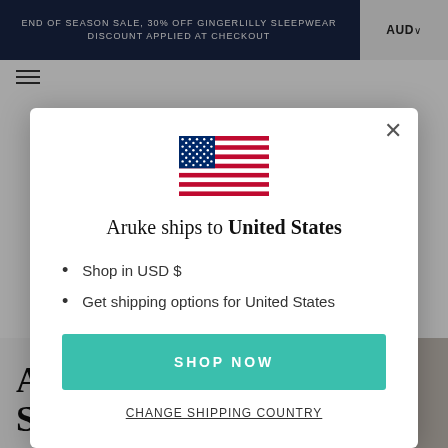END OF SEASON SALE, 30% OFF GINGERLILLY SLEEPWEAR DISCOUNT APPLIED AT CHECKOUT
[Figure (illustration): US flag emoji/icon centered in modal]
Aruke ships to United States
Shop in USD $
Get shipping options for United States
SHOP NOW
CHANGE SHIPPING COUNTRY
ASLEEP WITHIN SECONDS